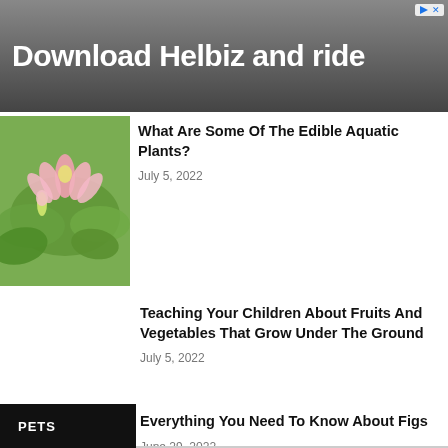[Figure (screenshot): Advertisement banner showing 'Download Helbiz and ride' text over a blurred urban background image]
What Are Some Of The Edible Aquatic Plants?
July 5, 2022
Teaching Your Children About Fruits And Vegetables That Grow Under The Ground
July 5, 2022
Everything You Need To Know About Figs
June 29, 2022
PETS